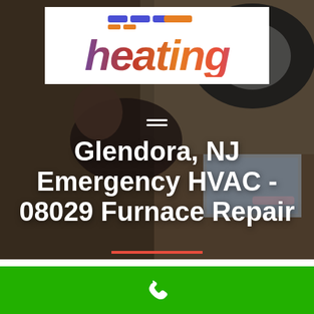[Figure (logo): Heating company logo with colorful gradient 'heating' text on white background]
[Figure (photo): Background photo of a mechanic/technician working under a vehicle]
Glendora, NJ Emergency HVAC - 08029 Furnace Repair
Home
New Jersey
[Figure (other): Green footer bar with white phone icon]